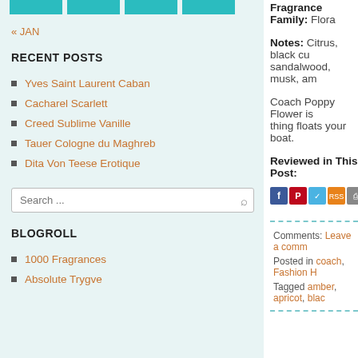[Figure (other): Four teal colored rectangular blocks in a row at the top of the left sidebar]
« JAN
RECENT POSTS
Yves Saint Laurent Caban
Cacharel Scarlett
Creed Sublime Vanille
Tauer Cologne du Maghreb
Dita Von Teese Erotique
Search ...
BLOGROLL
1000 Fragrances
Absolute Trygve
Fragrance Family: Flora
Notes: Citrus, black cu sandalwood, musk, am
Coach Poppy Flower is thing floats your boat.
Reviewed in This Post:
[Figure (other): Social media sharing icons: Facebook, Pinterest, Twitter, RSS, Print, Clipboard, Book]
Comments: Leave a comm
Posted in coach, Fashion H
Tagged amber, apricot, blac